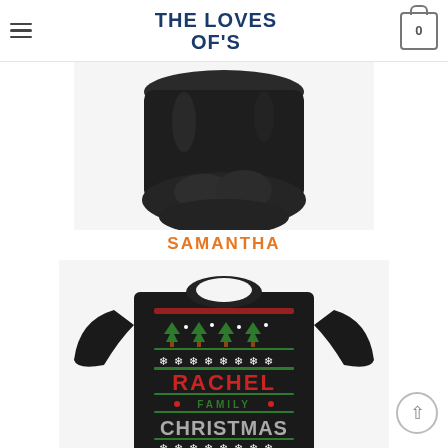THE LOVES OF'S
[Figure (photo): Black gaiter/neck warmer product photo on white background, cropped showing collar area]
SAMANTHA
[Figure (photo): Black t-shirt with ugly Christmas sweater design showing RACHEL FAMILY CHRISTMAS text with Christmas trees, snowflakes in green and red]